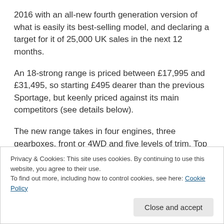2016 with an all-new fourth generation version of what is easily its best-selling model, and declaring a target for it of 25,000 UK sales in the next 12 months.
An 18-strong range is priced between £17,995 and £31,495, so starting £495 dearer than the previous Sportage, but keenly priced against its main competitors (see details below).
The new range takes in four engines, three gearboxes, front or 4WD and five levels of trim. Top is a GT-Line trim (from £...
Privacy & Cookies: This site uses cookies. By continuing to use this website, you agree to their use.
To find out more, including how to control cookies, see here: Cookie Policy
Close and accept